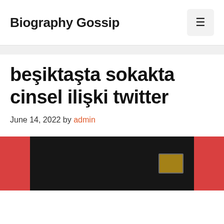Biography Gossip
beşiktaşta sokakta cinsel ilişki twitter
June 14, 2022 by admin
[Figure (photo): Dark indoor scene with a glowing screen/monitor visible, flanked by red background panels on left and right.]